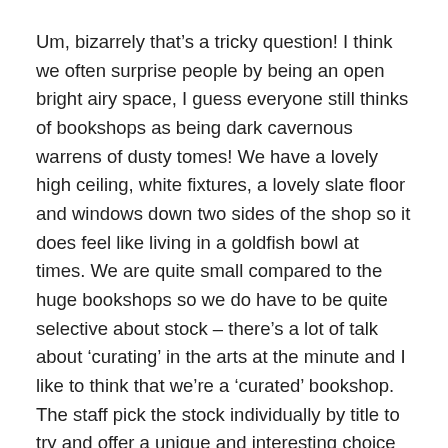Um, bizarrely that's a tricky question! I think we often surprise people by being an open bright airy space, I guess everyone still thinks of bookshops as being dark cavernous warrens of dusty tomes! We have a lovely high ceiling, white fixtures, a lovely slate floor and windows down two sides of the shop so it does feel like living in a goldfish bowl at times. We are quite small compared to the huge bookshops so we do have to be quite selective about stock – there's a lot of talk about 'curating' in the arts at the minute and I like to think that we're a 'curated' bookshop. The staff pick the stock individually by title to try and offer a unique and interesting choice for our customers. But we're not literary snobs – I love a good crime thriller as much as the next person!
Can you talk about your (literal) corner of Dublin?